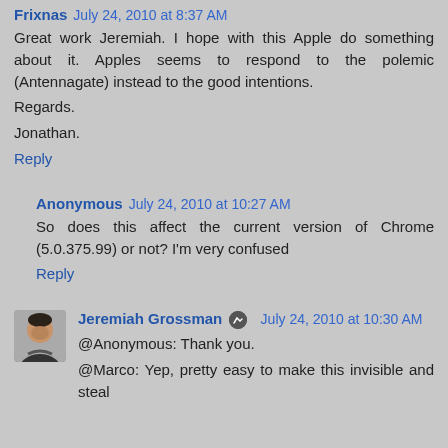Frixnas July 24, 2010 at 8:37 AM
Great work Jeremiah. I hope with this Apple do something about it. Apples seems to respond to the polemic (Antennagate) instead to the good intentions.
Regards.
Jonathan.
Reply
Anonymous July 24, 2010 at 10:27 AM
So does this affect the current version of Chrome (5.0.375.99) or not? I'm very confused
Reply
Jeremiah Grossman July 24, 2010 at 10:30 AM
@Anonymous: Thank you.
@Marco: Yep, pretty easy to make this invisible and steal